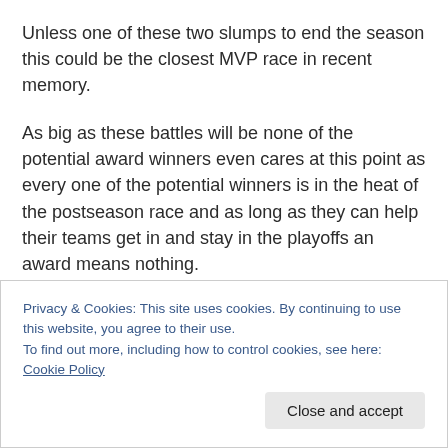Unless one of these two slumps to end the season this could be the closest MVP race in recent memory.
As big as these battles will be none of the potential award winners even cares at this point as every one of the potential winners is in the heat of the postseason race and as long as they can help their teams get in and stay in the playoffs an award means nothing.
As they try to do that they continue to make their case for the awards with plenty of games to play and more than
Privacy & Cookies: This site uses cookies. By continuing to use this website, you agree to their use.
To find out more, including how to control cookies, see here: Cookie Policy